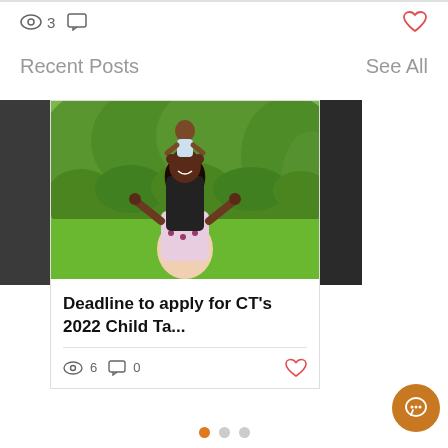👁 3  💬  ♡
Recent Posts
See All
[Figure (photo): Photo of a man and woman in a park, smiling. The man has a child on his shoulders.]
Deadline to apply for CT's 2022 Child Ta...
👁 6  💬 0  ♡